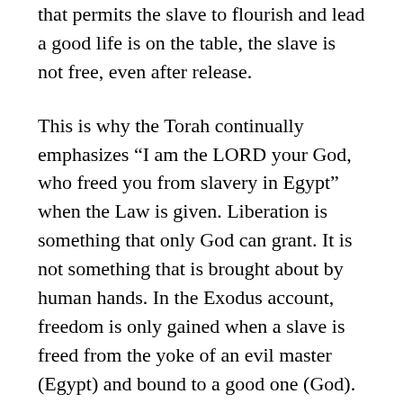that permits the slave to flourish and lead a good life is on the table, the slave is not free, even after release.
This is why the Torah continually emphasizes “I am the LORD your God, who freed you from slavery in Egypt” when the Law is given. Liberation is something that only God can grant. It is not something that is brought about by human hands. In the Exodus account, freedom is only gained when a slave is freed from the yoke of an evil master (Egypt) and bound to a good one (God). Why are the Israelites to be freed from Egypt? God tells Pharaoh “Let my people go so that they may celebrate a festival to me in the wilderness” (Exodus 5:1). Freedom only comes